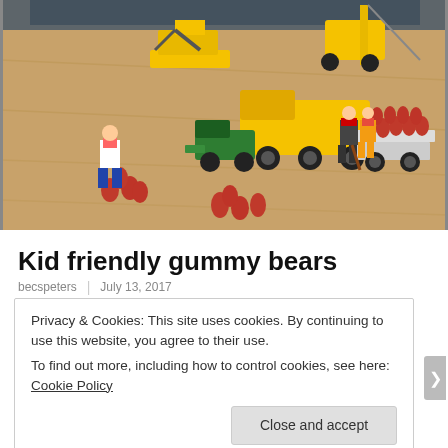[Figure (photo): Photo of LEGO minifigures and toy construction vehicles (yellow excavator, crane, truck with flatbed trailer) arranged on a wooden floor surface, with red gummy bear candies scattered around them.]
Kid friendly gummy bears
becspeters | July 13, 2017
Privacy & Cookies: This site uses cookies. By continuing to use this website, you agree to their use. To find out more, including how to control cookies, see here: Cookie Policy